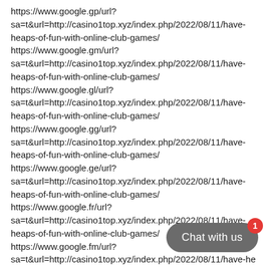https://www.google.gp/url?sa=t&url=http://casino1top.xyz/index.php/2022/08/11/have-heaps-of-fun-with-online-club-games/
https://www.google.gm/url?sa=t&url=http://casino1top.xyz/index.php/2022/08/11/have-heaps-of-fun-with-online-club-games/
https://www.google.gl/url?sa=t&url=http://casino1top.xyz/index.php/2022/08/11/have-heaps-of-fun-with-online-club-games/
https://www.google.gg/url?sa=t&url=http://casino1top.xyz/index.php/2022/08/11/have-heaps-of-fun-with-online-club-games/
https://www.google.ge/url?sa=t&url=http://casino1top.xyz/index.php/2022/08/11/have-heaps-of-fun-with-online-club-games/
https://www.google.fr/url?sa=t&url=http://casino1top.xyz/index.php/2022/08/11/have-heaps-of-fun-with-online-club-games/
https://www.google.fm/url?sa=t&url=http://casino1top.xyz/index.php/2022/08/11/have-heaps-of-fun-with-online-club-games/
https://www.google.fi/url?
[Figure (other): Chat with us widget button (dark grey pill/rounded rectangle) with a red badge showing the number 1]